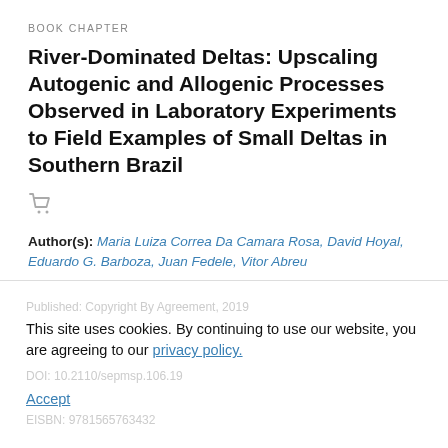BOOK CHAPTER
River-Dominated Deltas: Upscaling Autogenic and Allogenic Processes Observed in Laboratory Experiments to Field Examples of Small Deltas in Southern Brazil
Author(s): Maria Luiza Correa Da Camara Rosa, David Hoyal, Eduardo G. Barboza, Juan Fedele, Vitor Abreu
Book: Autogenic Dynamics and Self-Organization in Sedimentary Systems
Series: SEPM Special Publication
Publisher: SEPM Society for Sedimentary Geology
This site uses cookies. By continuing to use our website, you are agreeing to our privacy policy.
Accept